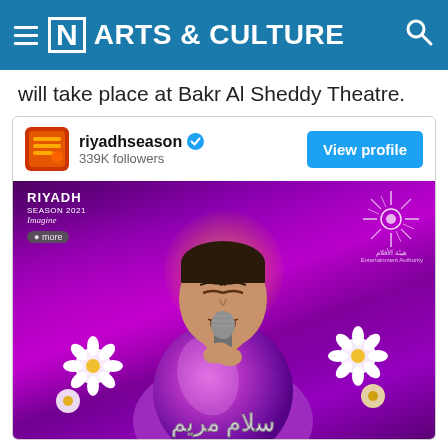[N] ARTS & CULTURE
will take place at Bakr Al Sheddy Theatre.
[Figure (screenshot): Embedded Instagram-style card for riyadhseason account with 339K followers and a View profile button, containing a promotional image of a singer performing with a microphone on a purple background with flowers and Riyadh Season branding and Arabic text]